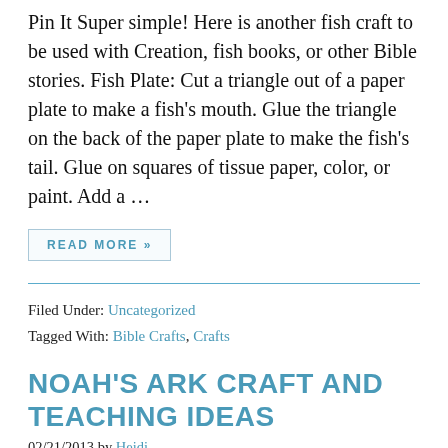Pin It Super simple!  Here is another fish craft to be used with Creation, fish books, or other Bible stories.  Fish Plate:  Cut a triangle out of a paper plate to make a fish's mouth.  Glue the triangle on the back of the paper plate to make the fish's tail.  Glue on squares of tissue paper, color, or paint.  Add a …
READ MORE »
Filed Under: Uncategorized
Tagged With: Bible Crafts, Crafts
NOAH'S ARK CRAFT AND TEACHING IDEAS
02/21/2013 by Heidi
[Figure (photo): Partial view of a circular craft or plate with red/pink tones, likely a Noah's Ark craft thumbnail image.]